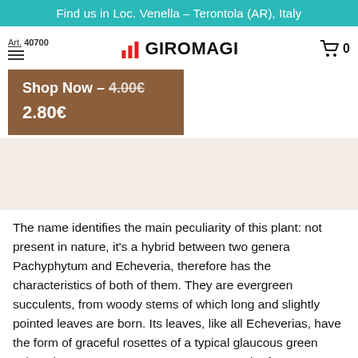Find us in Loc. Venella – Terontola (AR), Italy
Art. 40700
GIROMAGI
Shop Now – 4.00€ 2.80€
The name identifies the main peculiarity of this plant: not present in nature, it's a hybrid between two genera Pachyphytum and Echeveria, therefore has the characteristics of both of them. They are evergreen succulents, from woody stems of which long and slightly pointed leaves are born. Its leaves, like all Echeverias, have the form of graceful rosettes of a typical glaucous green color. They are easy to grow, are very popular for